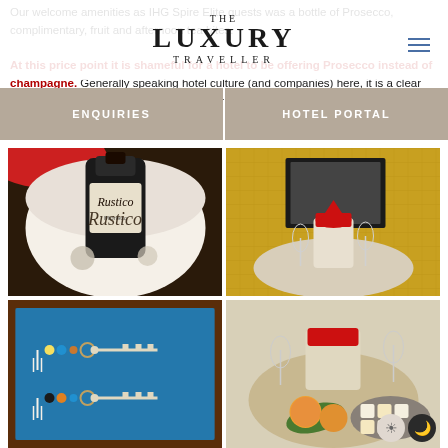THE LUXURY TRAVELLER
Our welcome amenities as IHG Spire Elite guests was a bottle of Prosecco, complimentary, fruit and afternoon tea bites. At this price point it is shameful for a hotel to be offering Prosecco instead of champagne. Generally speaking hotel culture (and companies) here, it is a clear example of an endemic problem in the corporate culture.
[Figure (photo): Bottle of Rustico prosecco in an ice bucket with a red cloth, viewed from above]
[Figure (photo): Hotel room interior with yellow tiled/woven wall, dark furniture, and a champagne presentation on a table with fruits and afternoon tea bites]
[Figure (photo): Two hotel room keys on decorative keychains with beads and tassels, displayed on a teal fabric board in a dark wood frame]
[Figure (photo): Table setting with fruit (peaches/apples), afternoon tea bites on a marble plate, and champagne glasses]